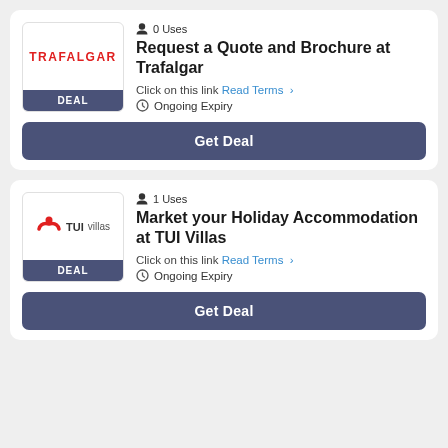[Figure (logo): Trafalgar brand logo with red text and DEAL badge]
0 Uses
Request a Quote and Brochure at Trafalgar
Click on this link Read Terms >
Ongoing Expiry
Get Deal
[Figure (logo): TUI Villas logo with red TUI symbol and DEAL badge]
1 Uses
Market your Holiday Accommodation at TUI Villas
Click on this link Read Terms >
Ongoing Expiry
Get Deal